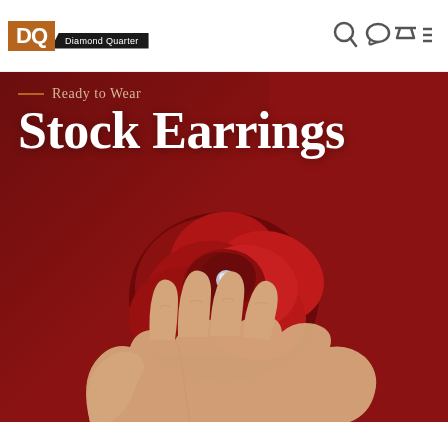DQ Diamond Quarter
[Figure (photo): Hero banner image: a hand holding a large red rose with a pearl/gem in the center, against a deep red background. Text overlay reads 'Ready to Wear / Stock Earrings'.]
Ready to Wear
Stock Earrings